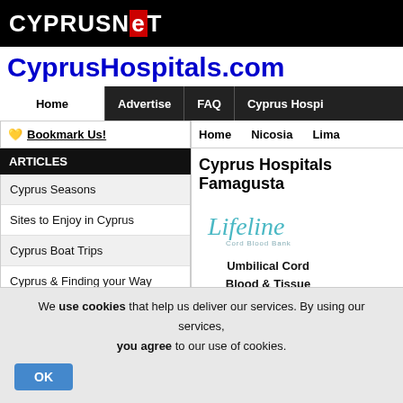CYPRUSNET
CyprusHospitals.com
Home | Advertise | FAQ | Cyprus Hospi
Home | Nicosia | Lima
💛 Bookmark Us!
ARTICLES
Cyprus Seasons
Sites to Enjoy in Cyprus
Cyprus Boat Trips
Cyprus & Finding your Way
INTERNET MARKETING
Do you wish to receive more
Cyprus Hospitals Famagusta
[Figure (logo): Lifeline Cord Blood Bank logo with teal italic text and subtitle]
Umbilical Cord Blood & Tissue Family Bank
We use cookies that help us deliver our services. By using our services, you agree to our use of cookies.